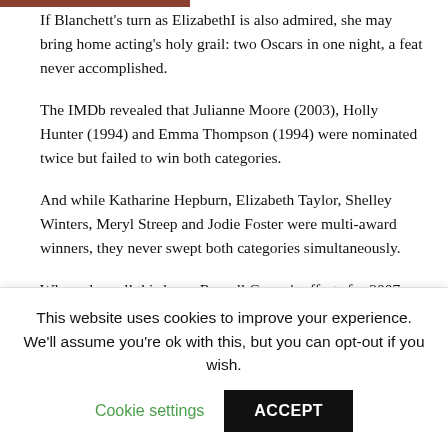If Blanchett's turn as ElizabethI is also admired, she may bring home acting's holy grail: two Oscars in one night, a feat never accomplished.
The IMDb revealed that Julianne Moore (2003), Holly Hunter (1994) and Emma Thompson (1994) were nominated twice but failed to win both categories.
And while Katharine Hepburn, Elizabeth Taylor, Shelley Winters, Meryl Streep and Jodie Foster were multi-award winners, they never swept both categories simultaneously.
Where does all this leave Russell Crowe's efforts for 2007, 3:10 to Yuma and American Gangster? Nowhere. Stratton said:
This website uses cookies to improve your experience. We'll assume you're ok with this, but you can opt-out if you wish.
Cookie settings   ACCEPT